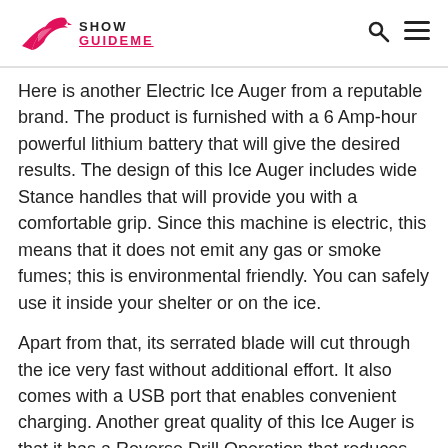Show GuideMe
Here is another Electric Ice Auger from a reputable brand. The product is furnished with a 6 Amp-hour powerful lithium battery that will give the desired results. The design of this Ice Auger includes wide Stance handles that will provide you with a comfortable grip. Since this machine is electric, this means that it does not emit any gas or smoke fumes; this is environmental friendly. You can safely use it inside your shelter or on the ice.
Apart from that, its serrated blade will cut through the ice very fast without additional effort. It also comes with a USB port that enables convenient charging. Another great quality of this Ice Auger is that it has a Reverse Drill Operation that reduces the need for ice skimmers. Finally, this product has a lightweight design allowing you to use it for a long